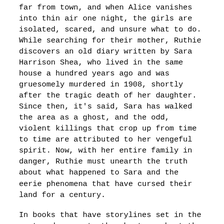far from town, and when Alice vanishes into thin air one night, the girls are isolated, scared, and unsure what to do. While searching for their mother, Ruthie discovers an old diary written by Sara Harrison Shea, who lived in the same house a hundred years ago and was gruesomely murdered in 1908, shortly after the tragic death of her daughter. Since then, it's said, Sara has walked the area as a ghost, and the odd, violent killings that crop up from time to time are attributed to her vengeful spirit. Now, with her entire family in danger, Ruthie must unearth the truth about what happened to Sara and the eerie phenomena that have cursed their land for a century.
In books that have storylines set in the past and present, the chapters about the past can automatically seem more interesting, compared to the mundane daily lives of a contemporary middle-class American family. The Winter People is no exception, and Sara has the benefit of a little pioneer pixie dust glittering exotically over her